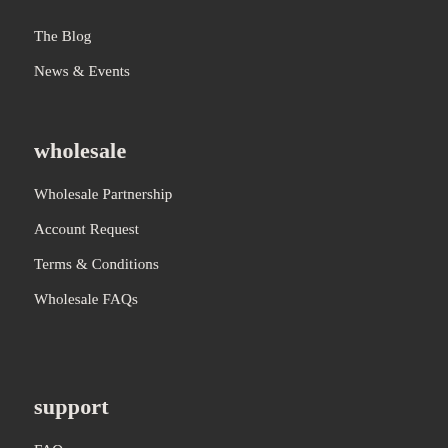The Blog
News & Events
wholesale
Wholesale Partnership
Account Request
Terms & Conditions
Wholesale FAQs
support
FAQs
Get in Touch
Order Tracking